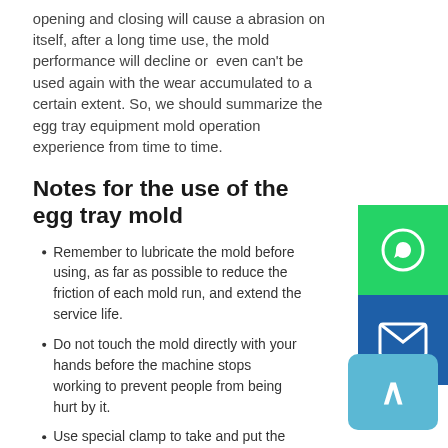opening and closing will cause a abrasion on itself, after a long time use, the mold performance will decline or even can't be used again with the wear accumulated to a certain extent. So, we should summarize the egg tray equipment mold operation experience from time to time.
Notes for the use of the egg tray mold
Remember to lubricate the mold before using, as far as possible to reduce the friction of each mold run, and extend the service life.
Do not touch the mold directly with your hands before the machine stops working to prevent people from being hurt by it.
Use special clamp to take and put the product
When without using the mold,clean the mold carefully, including the inside and outside, and then hit the anti-rust oil.